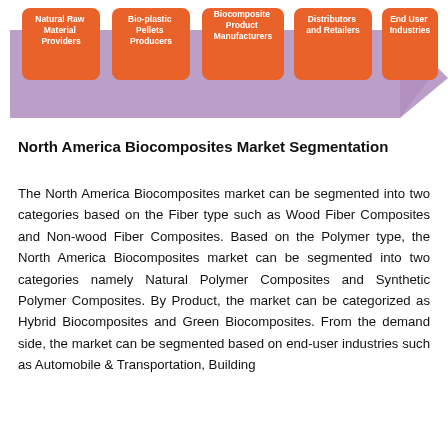[Figure (flowchart): Supply chain flowchart showing 5 orange rounded-rectangle nodes on a purple arrow banner: Natural Raw Material Providers, Bio-plastic Pellets Producers, Biocomposite Product Manufacturers, Distributors and Retailers, End User Industries]
North America Biocomposites Market Segmentation
The North America Biocomposites market can be segmented into two categories based on the Fiber type such as Wood Fiber Composites and Non-wood Fiber Composites. Based on the Polymer type, the North America Biocomposites market can be segmented into two categories namely Natural Polymer Composites and Synthetic Polymer Composites. By Product, the market can be categorized as Hybrid Biocomposites and Green Biocomposites. From the demand side, the market can be segmented based on end-user industries such as Automobile & Transportation, Building